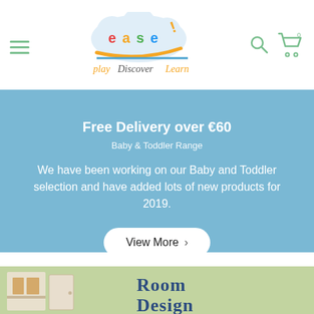[Figure (logo): ease! PlayDiscoverLearn logo with cloud shape and colorful letters]
Free Delivery over €60
Baby & Toddler Range
We have been working on our Baby and Toddler selection and have added lots of new products for 2019.
View More >
[Figure (photo): Bottom section showing a children's room design area with green background and 'Room Design' text]